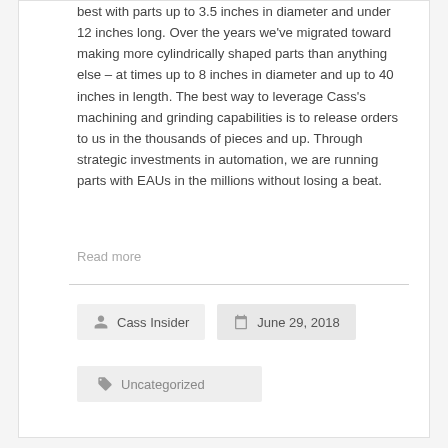best with parts up to 3.5 inches in diameter and under 12 inches long. Over the years we've migrated toward making more cylindrically shaped parts than anything else – at times up to 8 inches in diameter and up to 40 inches in length. The best way to leverage Cass's machining and grinding capabilities is to release orders to us in the thousands of pieces and up. Through strategic investments in automation, we are running parts with EAUs in the millions without losing a beat.
Read more
Cass Insider
June 29, 2018
Uncategorized